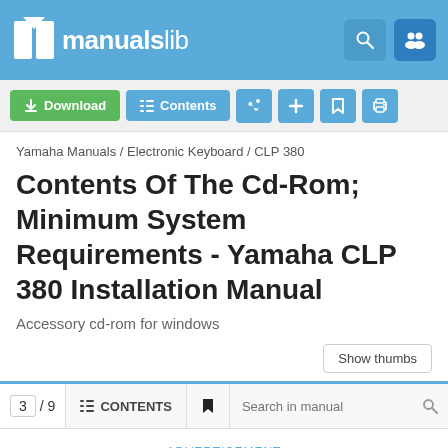[Figure (logo): ManualsLib logo with book icon and site name in blue header bar]
[Figure (screenshot): Toolbar with Download, Contents, share, add, bookmark, and print buttons]
Yamaha Manuals / Electronic Keyboard / CLP 380
Contents Of The Cd-Rom; Minimum System Requirements - Yamaha CLP 380 Installation Manual
Accessory cd-rom for windows
[Figure (screenshot): Show thumbs button]
[Figure (screenshot): Navigation bar with page number 3/9, CONTENTS tab, bookmark icon, and Search in manual field]
ADVERTISEMENT